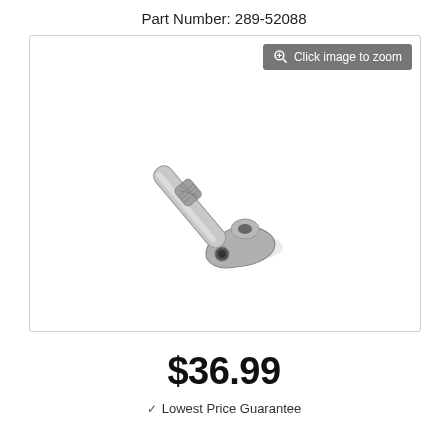Part Number: 289-52088
[Figure (photo): A metal pipe fitting or barbed connector with a knurled section and a flanged base with a mounting hole, photographed against a white background.]
$36.99
✓ Lowest Price Guarantee